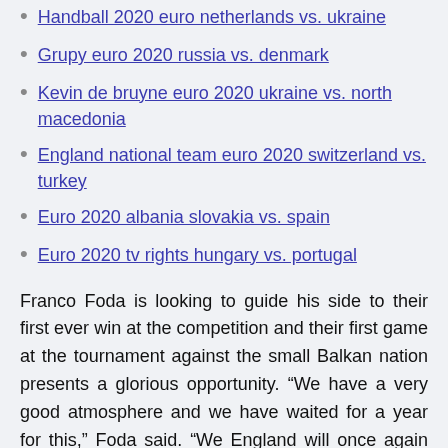Handball 2020 euro netherlands vs. ukraine
Grupy euro 2020 russia vs. denmark
Kevin de bruyne euro 2020 ukraine vs. north macedonia
England national team euro 2020 switzerland vs. turkey
Euro 2020 albania slovakia vs. spain
Euro 2020 tv rights hungary vs. portugal
Franco Foda is looking to guide his side to their first ever win at the competition and their first game at the tournament against the small Balkan nation presents a glorious opportunity. “We have a very good atmosphere and we have waited for a year for this,” Foda said. “We England will once again face Croatia at a major